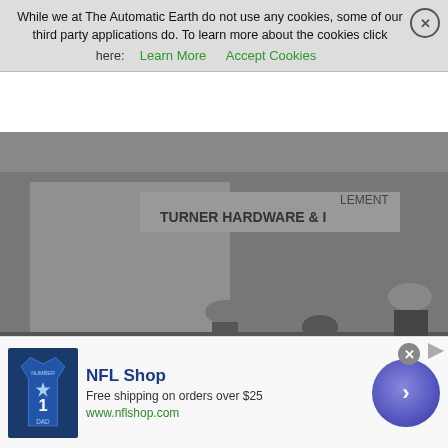While we at The Automatic Earth do not use any cookies, some of our third party applications do. To learn more about the cookies click here: Learn More   Accept Cookies
[Figure (photo): Black and white historical photograph showing men standing near vintage automobiles on a street, with storefronts visible in the background including signs reading 'Hardware' and 'Cement'. Scene appears to be from the 1930s depression era.]
[Figure (other): NFL Shop advertisement banner showing a Dallas Cowboys jersey shirt, text 'NFL Shop', 'Free shipping on orders over $25', 'www.nflshop.com', and a blue arrow button circle.]